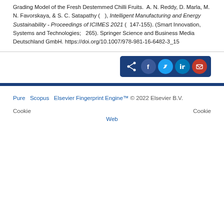Grading Model of the Fresh Destemmed Chilli Fruits.  A. N. Reddy, D. Marla, M. N. Favorskaya, & S. C. Satapathy (   ), Intelligent Manufacturing and Energy Sustainability - Proceedings of ICIMES 2021 (  147-155). (Smart Innovation, Systems and Technologies;   265). Springer Science and Business Media Deutschland GmbH. https://doi.org/10.1007/978-981-16-6482-3_15
[Figure (other): Share buttons row: share icon, Facebook, Twitter, LinkedIn, Email — dark blue rounded rectangle container]
Pure  Scopus  Elsevier Fingerprint Engine™ © 2022 Elsevier B.V.
Cookie   Cookie
Web